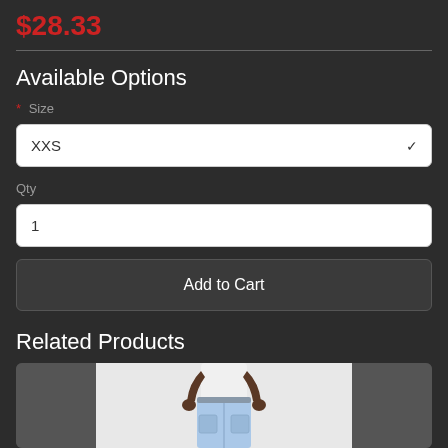$28.33
Available Options
* Size
XXS
Qty
1
Add to Cart
Related Products
[Figure (photo): Person wearing light blue cargo shorts and white t-shirt, shown from waist down, with gray panels on either side]